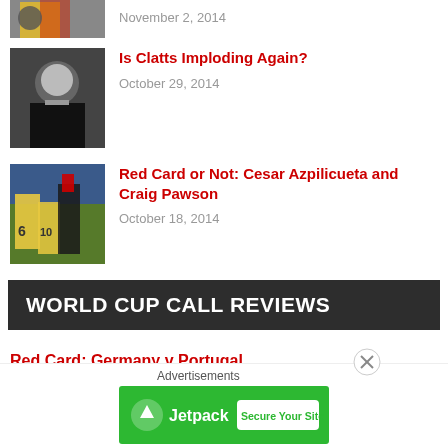[Figure (photo): Partial view of soccer/football article thumbnail at top, cropped]
November 2, 2014
[Figure (photo): Referee showing a card, black shirt, cropped portrait]
Is Clatts Imploding Again?
October 29, 2014
[Figure (photo): Soccer players on field, yellow jerseys, referee scene]
Red Card or Not: Cesar Azpilicueta and Craig Pawson
October 18, 2014
WORLD CUP CALL REVIEWS
Red Card: Germany v Portugal
Red Card: England v Uruguay
[Figure (screenshot): Jetpack advertisement banner with green background, Secure Your Site button]
Advertisements